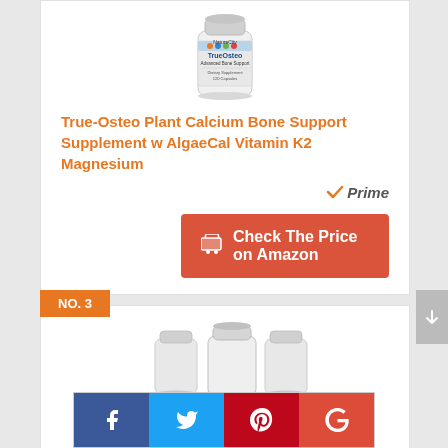[Figure (photo): TrueOsteo Advanced Bone Support supplement bottle by NatureCity, white cylindrical container]
True-Osteo Plant Calcium Bone Support Supplement w AlgaeCal Vitamin K2 Magnesium
[Figure (logo): Amazon Prime badge with orange checkmark and italic 'Prime' text]
Check The Price on Amazon
NO. 3
[Figure (photo): Three white supplement bottles grouped together]
[Figure (infographic): Social sharing buttons: Facebook, Twitter, Pinterest, Google+]